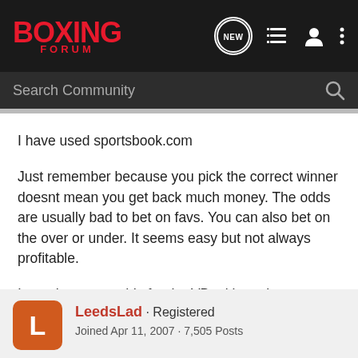BOXING FORUM
Search Community
I have used sportsbook.com

Just remember because you pick the correct winner doesnt mean you get back much money. The odds are usually bad to bet on favs. You can also bet on the over or under. It seems easy but not always profitable.

I use the same odds for the VBookie on here.
LeedsLad · Registered
Joined Apr 11, 2007 · 7,505 Posts